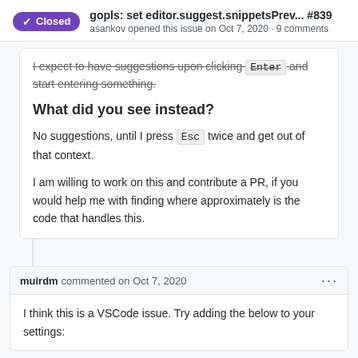gopls: set editor.suggest.snippetsPrev... #839
asankov opened this issue on Oct 7, 2020 · 9 comments
I expect to have suggestions upon clicking Enter and start entering something.
What did you see instead?
No suggestions, until I press Esc twice and get out of that context.
I am willing to work on this and contribute a PR, if you would help me with finding where approximately is the code that handles this.
muirdm commented on Oct 7, 2020
I think this is a VSCode issue. Try adding the below to your settings: